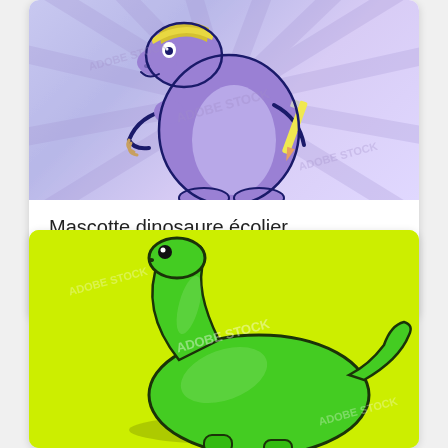[Figure (illustration): Purple cartoon dinosaur mascot dressed as a schoolchild, holding a pencil, on a light purple background with radiating rays. Watermark overlay visible.]
Mascotte dinosaure écolier
KUP OBRAZ
[Figure (photo): Green plastic brontosaurus dinosaur toy on a bright yellow-green background. Watermark overlay visible.]